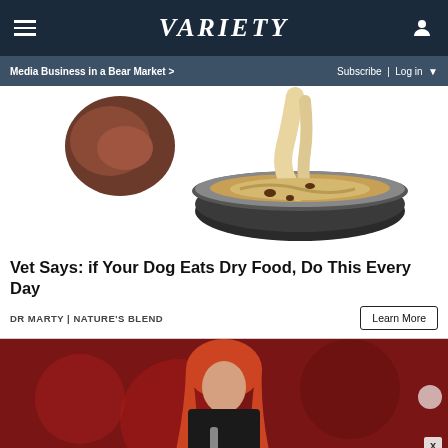VARIETY
Media Business in a Bear Market > | Subscribe | Log in
[Figure (illustration): Illustration of a dog bowl with food being poured into it, and a piece of meat to the left side]
Vet Says: if Your Dog Eats Dry Food, Do This Every Day
DR MARTY | NATURE'S BLEND
[Figure (photo): Concert photo of a performer with long red hair on stage against a dark red background]
[Figure (infographic): Advertisement: AMAZON FIRE TVS AS LOW AS $319 / SPY logo]